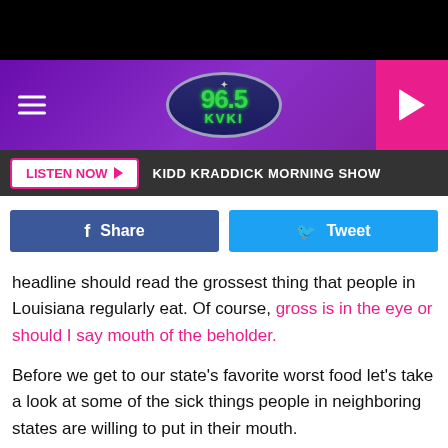[Figure (screenshot): Black top bar]
96.5 KVKI radio station header with logo, hamburger menu, and play button
LISTEN NOW ▶  KIDD KRADDICK MORNING SHOW
[Figure (screenshot): Facebook Share and Twitter Tweet buttons]
headline should read the grossest thing that people in Louisiana regularly eat. Of course, gross is in the eye or should I say mouth of the beholder.
Before we get to our state's favorite worst food let's take a look at some of the sick things people in neighboring states are willing to put in their mouth.
In Arkansas, the favorite grossest food is Buffalo Ribs. I know you're thinking that doesn't sound bad. The ribs of a big